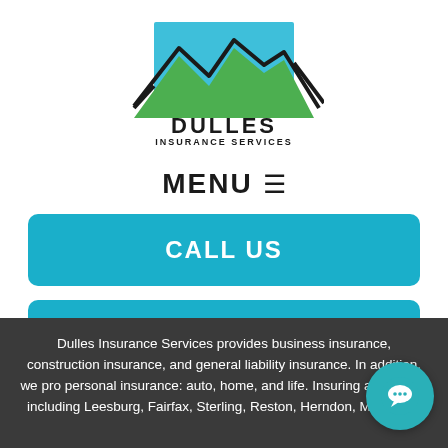[Figure (logo): Dulles Insurance Services logo with green mountain silhouette and teal/blue background square]
MENU ☰
CALL US
TEXT US
Dulles Insurance Services provides business insurance, construction insurance, and general liability insurance. In addition, we provide personal insurance: auto, home, and life. Insuring all of Virginia including Leesburg, Fairfax, Sterling, Reston, Herndon, Manassas